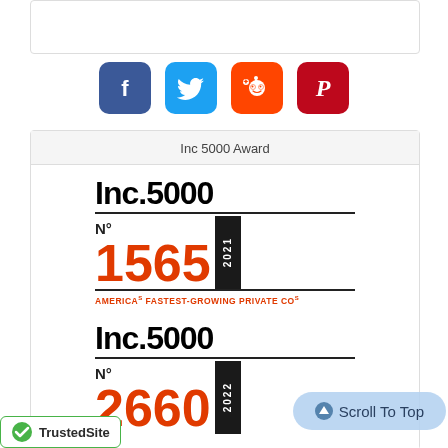[Figure (other): White rectangular box at top of page]
[Figure (other): Social media icons row: Facebook (blue), Twitter (light blue), Reddit (orange), Pinterest (red)]
Inc 5000 Award
[Figure (logo): Inc.5000 badge No 1565, 2021, America's Fastest-Growing Private Cos]
[Figure (logo): Inc.5000 badge No 2660, 2022]
Scroll To Top
[Figure (logo): TrustedSite badge with green checkmark]